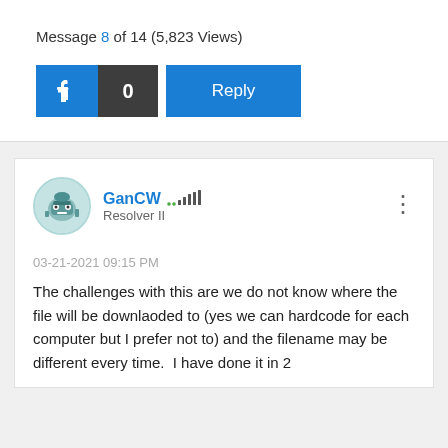Message 8 of 14 (5,823 Views)
[Figure (infographic): Like button with thumbs up icon (blue), count of 0 (dark gray), and Reply button (blue)]
[Figure (illustration): User avatar for GanCW — circular avatar with teal/robot illustration]
GanCW .. signal bars Resolver II
03-21-2021 09:15 PM
The challenges with this are we do not know where the file will be downlaoded to (yes we can hardcode for each computer but I prefer not to) and the filename may be different every time.  I have done it in 2